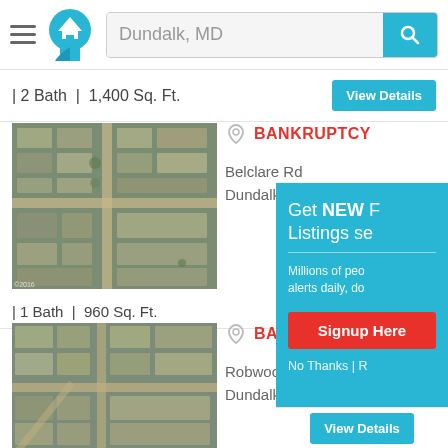[Figure (screenshot): Real estate search app header with hamburger menu, house logo icon, search bar showing 'Dundalk, MD', and blue search button with magnifying glass icon]
| 2 Bath | 1,400 Sq. Ft.
View Details
[Figure (photo): Aerial satellite view of residential area with rows of houses and parking lots]
BANKRUPTCY
Belclare Rd
Dundalk, MD 21222
| 1 Bath | 960 Sq. Ft.
[Figure (photo): Aerial satellite view of residential neighborhood with rows of houses]
BANKRUPTCY
Robwood Rd
Dundalk, MD 21222
[Figure (infographic): Overlay panel: Get NEW Listings sent to you. Millions of people receive alerts daily. Signup Here button. No Thanks | R...]
View Details